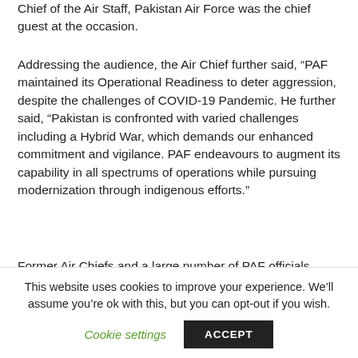Chief of the Air Staff, Pakistan Air Force was the chief guest at the occasion.
Addressing the audience, the Air Chief further said, “PAF maintained its Operational Readiness to deter aggression, despite the challenges of COVID-19 Pandemic. He further said, “Pakistan is confronted with varied challenges including a Hybrid War, which demands our enhanced commitment and vigilance. PAF endeavours to augment its capability in all spectrums of operations while pursuing modernization through indigenous efforts.”
Former Air Chiefs and a large number of PAF officials witnessed the ceremony. Earlier, a smartly turned out
This website uses cookies to improve your experience. We’ll assume you’re ok with this, but you can opt-out if you wish.
Cookie settings
ACCEPT